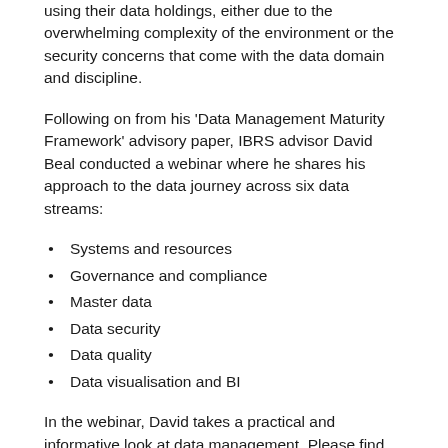using their data holdings, either due to the overwhelming complexity of the environment or the security concerns that come with the data domain and discipline.
Following on from his 'Data Management Maturity Framework' advisory paper, IBRS advisor David Beal conducted a webinar where he shares his approach to the data journey across six data streams:
Systems and resources
Governance and compliance
Master data
Data security
Data quality
Data visualisation and BI
In the webinar, David takes a practical and informative look at data management. Please find below a full video of the webinar.